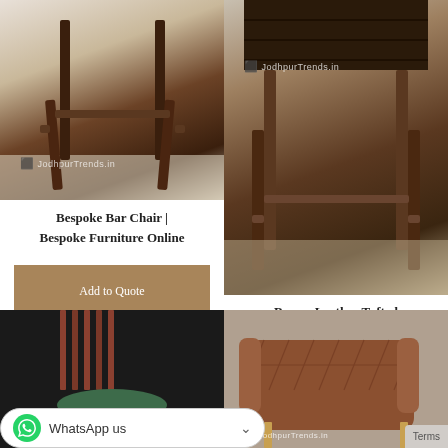[Figure (photo): Bottom portion of a dark wooden bar chair with thin legs on light wood floor, Jodhpur Trends watermark]
Bespoke Bar Chair | Bespoke Furniture Online
Add to Quote
[Figure (photo): Brown leather tufted wooden frame pub chair with dark wooden legs, Jodhpur Trends watermark]
Brown Leather Tufted Wooden Frame Pub Chair
Add to Quote
[Figure (photo): Green round seat stool with black metal legs on dark floor]
[Figure (photo): Brown diamond-quilted leather lounge chair with gold/brass legs, Jodhpur Trends watermark]
WhatsApp us
Terms